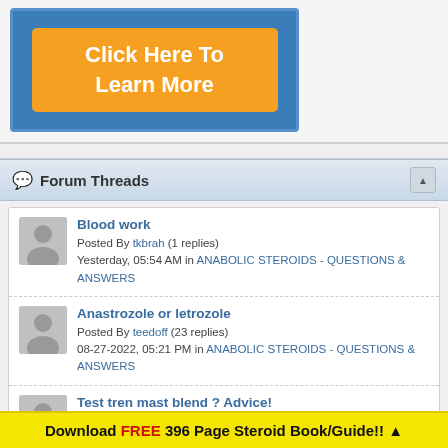[Figure (other): Advertisement banner with orange 'Click Here To Learn More' button on blue background]
Forum Threads
Blood work – Posted By tkbrah (1 replies) Yesterday, 05:54 AM in ANABOLIC STEROIDS - QUESTIONS & ANSWERS
Anastrozole or letrozole – Posted By teedoff (23 replies) 08-27-2022, 05:21 PM in ANABOLIC STEROIDS - QUESTIONS & ANSWERS
Test tren mast blend ? Advice! – Posted By Bigbadwolf250 (0 replies) 08-27-2022, 12:40 PM in ANABOLIC STEROIDS - QUESTIONS & ANSWERS
Thoughts on running low dose of... – Posted By jjsevens (11 replies) 08-24-2022, 01:36 PM in ANABOLIC STEROIDS - QUESTIONS &
Download FREE 396 Page Steroid Book/Guide!! ▲